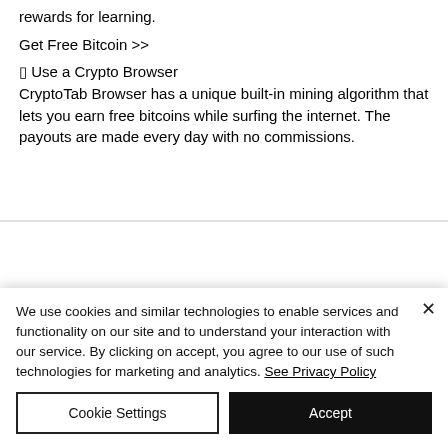rewards for learning.
Get Free Bitcoin >>
⬡ Use a Crypto Browser
CryptoTab Browser has a unique built-in mining algorithm that lets you earn free bitcoins while surfing the internet. The payouts are made every day with no commissions.
We use cookies and similar technologies to enable services and functionality on our site and to understand your interaction with our service. By clicking on accept, you agree to our use of such technologies for marketing and analytics. See Privacy Policy
Cookie Settings
Accept